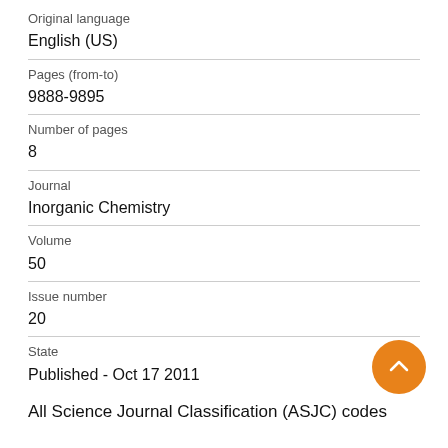Original language
English (US)
Pages (from-to)
9888-9895
Number of pages
8
Journal
Inorganic Chemistry
Volume
50
Issue number
20
State
Published - Oct 17 2011
All Science Journal Classification (ASJC) codes